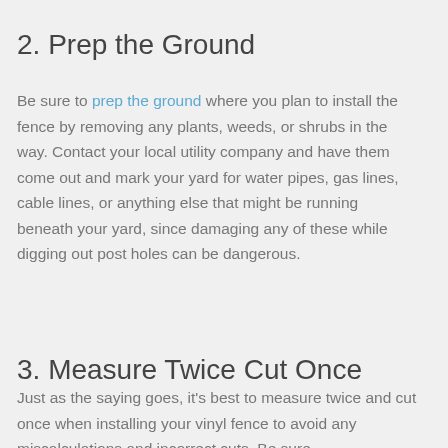2. Prep the Ground
Be sure to prep the ground where you plan to install the fence by removing any plants, weeds, or shrubs in the way. Contact your local utility company and have them come out and mark your yard for water pipes, gas lines, cable lines, or anything else that might be running beneath your yard, since damaging any of these while digging out post holes can be dangerous.
3. Measure Twice Cut Once
Just as the saying goes, it's best to measure twice and cut once when installing your vinyl fence to avoid any miscalculations and incorrect cuts. Be sure